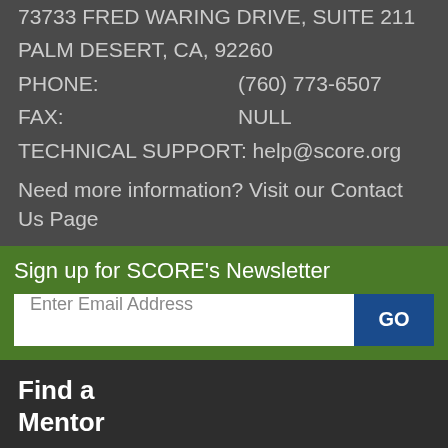73733 FRED WARING DRIVE, SUITE 211
PALM DESERT, CA, 92260
PHONE:    (760) 773-6507
FAX:    NULL
TECHNICAL SUPPORT: help@score.org
Need more information? Visit our Contact Us Page
Sign up for SCORE's Newsletter
Enter Email Address
GO
Find a
Mentor
Browse
Mentor
Profiles
Request